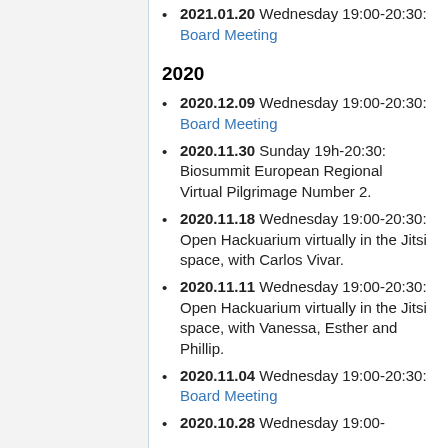2021.01.20 Wednesday 19:00-20:30: Board Meeting
2020
2020.12.09 Wednesday 19:00-20:30: Board Meeting
2020.11.30 Sunday 19h-20:30: Biosummit European Regional Virtual Pilgrimage Number 2.
2020.11.18 Wednesday 19:00-20:30: Open Hackuarium virtually in the Jitsi space, with Carlos Vivar.
2020.11.11 Wednesday 19:00-20:30: Open Hackuarium virtually in the Jitsi space, with Vanessa, Esther and Phillip.
2020.11.04 Wednesday 19:00-20:30: Board Meeting
2020.10.28 Wednesday 19:00-